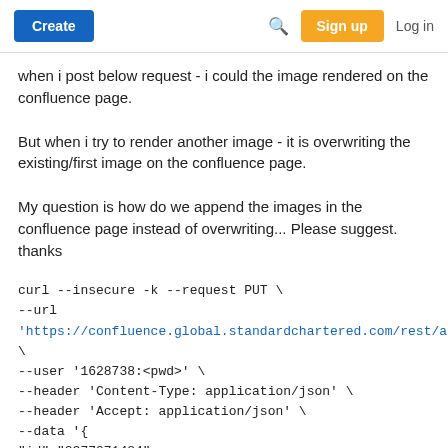Create  [search]  Sign up  Log in
when i post below request - i could the image rendered on the confluence page.
But when i try to render another image - it is overwriting the existing/first image on the confluence page.
My question is how do we append the images in the confluence page instead of overwriting... Please suggest. thanks
curl --insecure -k --request PUT \
--url
'https://confluence.global.standardchartered.com/rest/api/content/2377271484' \
--user '1628738:<pwd>' \
--header 'Content-Type: application/json' \
--header 'Accept: application/json' \
--data '{
"id":"2377271484"